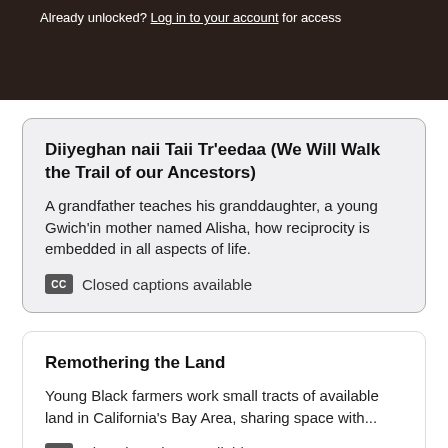[Figure (screenshot): Dark banner with text 'Already unlocked? Log in to your account for access']
Diiyeghan naii Taii Tr'eedaa (We Will Walk the Trail of our Ancestors)
A grandfather teaches his granddaughter, a young Gwich'in mother named Alisha, how reciprocity is embedded in all aspects of life.
Closed captions available
Remothering the Land
Young Black farmers work small tracts of available land in California's Bay Area, sharing space with...
Closed captions available